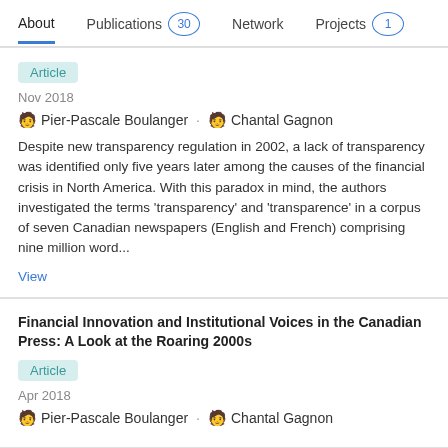About  Publications 30  Network  Projects 1
Article
Nov 2018
🧑 Pier-Pascale Boulanger · 🧑 Chantal Gagnon
Despite new transparency regulation in 2002, a lack of transparency was identified only five years later among the causes of the financial crisis in North America. With this paradox in mind, the authors investigated the terms 'transparency' and 'transparence' in a corpus of seven Canadian newspapers (English and French) comprising nine million word...
View
Financial Innovation and Institutional Voices in the Canadian Press: A Look at the Roaring 2000s
Article
Apr 2018
🧑 Pier-Pascale Boulanger · 🧑 Chantal Gagnon